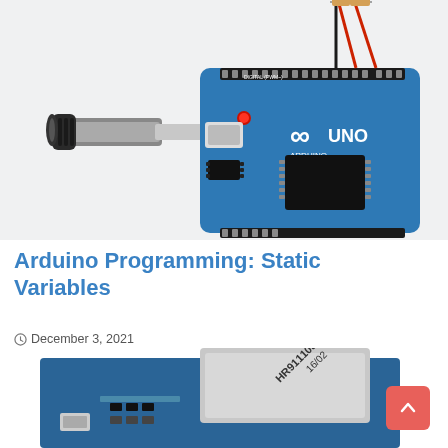[Figure (photo): Arduino UNO board connected to a USB cable connector (3.5mm jack style), with red and black resistor leads going to the digital pins at the top. Light gray background.]
Arduino Programming: Static Variables
December 3, 2021
[Figure (photo): Ethernet module/shield board (blue PCB) with a silver HR911105A Ethernet port connector, partially visible at bottom of page.]